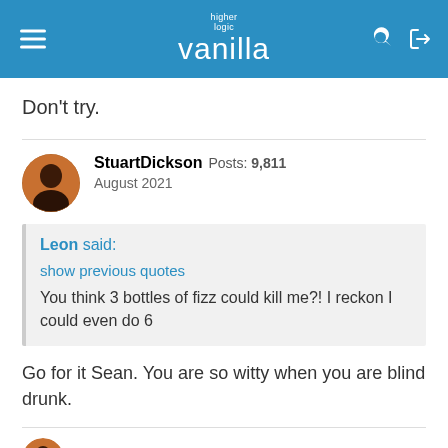higher logic vanilla
Don't try.
StuartDickson  Posts: 9,811
August 2021
Leon said:
show previous quotes
You think 3 bottles of fizz could kill me?! I reckon I could even do 6
Go for it Sean. You are so witty when you are blind drunk.